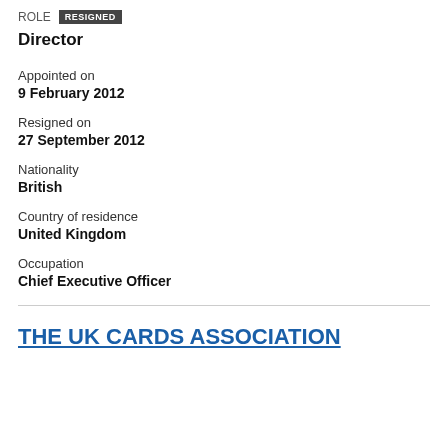ROLE  RESIGNED
Director
Appointed on
9 February 2012
Resigned on
27 September 2012
Nationality
British
Country of residence
United Kingdom
Occupation
Chief Executive Officer
THE UK CARDS ASSOCIATION